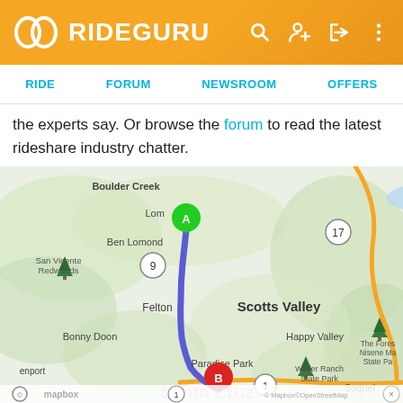RIDEGURU
RIDE  FORUM  NEWSROOM  OFFERS
the experts say. Or browse the forum to read the latest rideshare industry chatter.
[Figure (map): Map showing a route from point A near Lompico/Boulder Creek area down through Ben Lomond, Felton, Scotts Valley, past Bonny Doon, Wilder Ranch State Park, Paradise Park, to point B near Santa Cruz. The route is shown as a blue line. Map labels include San Vicente Redwoods, Ben Lomond, road markers 9, 17, 1, Felton, Scotts Valley, Happy Valley, Bonny Doon, Paradise Park, Wilder Ranch State Park, Soquel, Santa Cruz, Capitola, The Forest of Nisene Marks State Park. Mapbox and OpenStreetMap attribution shown at bottom.]